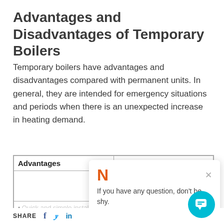Advantages and Disadvantages of Temporary Boilers
Temporary boilers have advantages and disadvantages compared with permanent units. In general, they are intended for emergency situations and periods when there is an unexpected increase in heating demand.
| Advantages | Disadvantages |
| --- | --- |
|  | can be challenging. Exposure to the... |
| Quick and simple installation, only... |  |